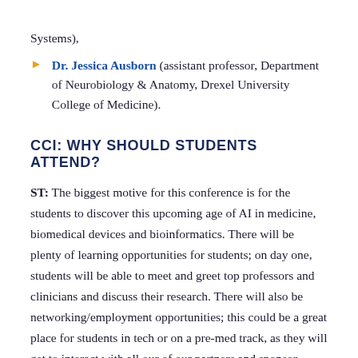Systems),
Dr. Jessica Ausborn (assistant professor, Department of Neurobiology & Anatomy, Drexel University College of Medicine).
CCI: WHY SHOULD STUDENTS ATTEND?
ST: The biggest motive for this conference is for the students to discover this upcoming age of AI in medicine, biomedical devices and bioinformatics. There will be plenty of learning opportunities for students; on day one, students will be able to meet and greet top professors and clinicians and discuss their research. There will also be networking/employment opportunities; this could be a great place for students in tech or on a pre-med track, as they will get to interact with all our of our partners and sponsor companies who are looking. Moreover, the